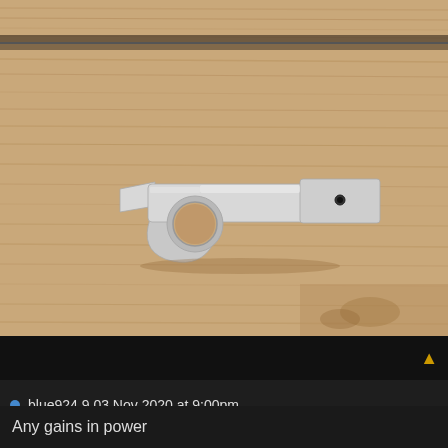[Figure (photo): Partial view of a wooden surface shown at the very top of the page, cropped strip]
[Figure (photo): A silver/aluminum machined mechanical part (likely a rocker arm or clamp) with a circular hole and a small set screw, placed on a wooden surface]
blue924.9 03 Nov 2020 at 9:00pm
Quote  Reply
Any gains in power